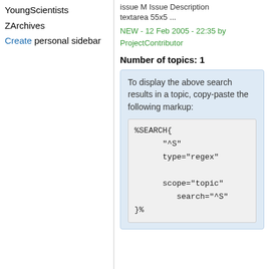YoungScientists
ZArchives
Create personal sidebar
issue M Issue Description
textarea 55x5 ...
NEW - 12 Feb 2005 - 22:35 by ProjectContributor
Number of topics: 1
To display the above search results in a topic, copy-paste the following markup:
%SEARCH{
    "^S"
    type="regex"

    scope="topic"
    search="^S"
}%